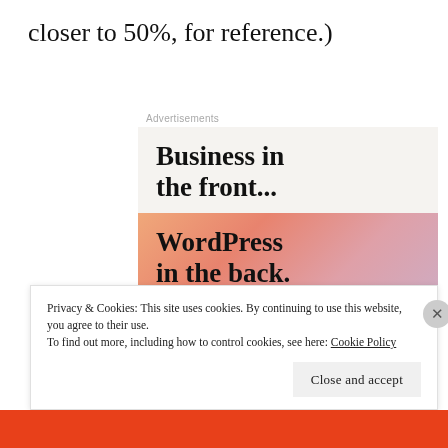closer to 50%, for reference.)
[Figure (screenshot): Advertisement screenshot showing 'Business in the front...' in top light beige section and 'WordPress in the back.' in bottom colorful gradient section with peach/salmon/lavender colors]
Privacy & Cookies: This site uses cookies. By continuing to use this website, you agree to their use.
To find out more, including how to control cookies, see here: Cookie Policy
Close and accept